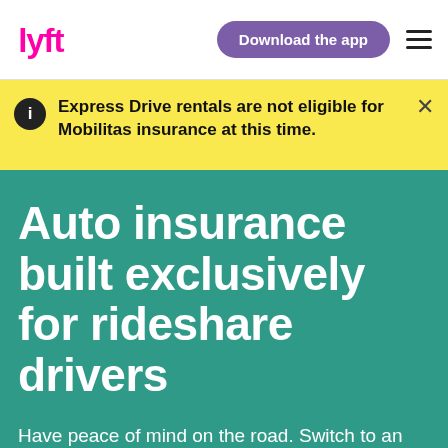Lyft — Download the app
Express Drive rentals are not eligible for Mobilitas insurance at this time.
Auto insurance built exclusively for rideshare drivers
Have peace of mind on the road. Switch to an all-in-one auto insurance policy with Mobilitas today.